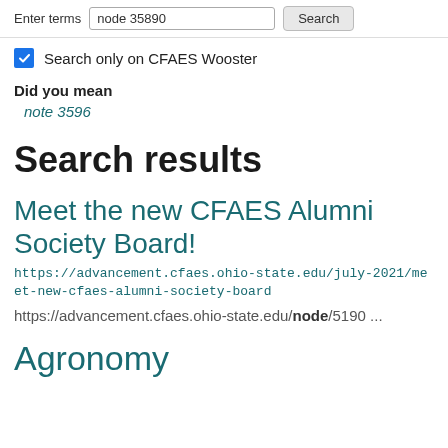Enter terms  node 35890  Search
Search only on CFAES Wooster
Did you mean
note 3596
Search results
Meet the new CFAES Alumni Society Board!
https://advancement.cfaes.ohio-state.edu/july-2021/meet-new-cfaes-alumni-society-board
https://advancement.cfaes.ohio-state.edu/node/5190 ...
Agronomy